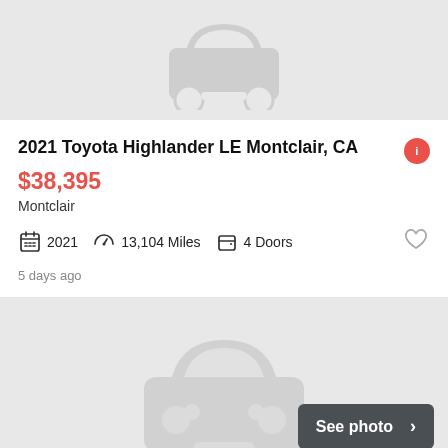[Figure (illustration): Gray car placeholder icon on light gray background (top, partial)]
2021 Toyota Highlander LE Montclair, CA
$38,395
Montclair
2021   13,104 Miles   4 Doors
5 days ago
[Figure (illustration): Gray car placeholder icon on light gray background (bottom) with 'See photo >' button overlay]